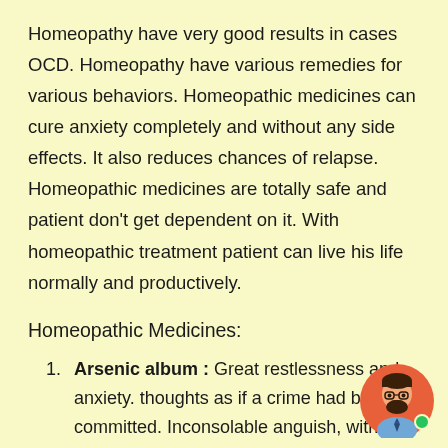Homeopathy have very good results in cases OCD. Homeopathy have various remedies for various behaviors. Homeopathic medicines can cure anxiety completely and without any side effects. It also reduces chances of relapse. Homeopathic medicines are totally safe and patient don't get dependent on it. With homeopathic treatment patient can live his life normally and productively.
Homeopathic Medicines:
Arsenic album : Great restlessness and anxiety. thoughts as if a crime had been committed. Inconsolable anguish, with
[Figure (illustration): Circular avatar icon of a bearded man with glasses wearing a shirt and tie, with a green dot indicator, on an orange/red background.]